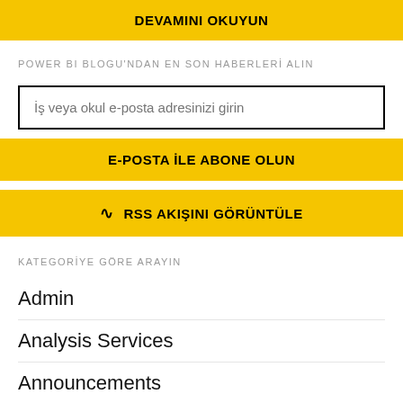DEVAMINI OKUYUN
POWER BI BLOGU'NDAN EN SON HABERLERİ ALIN
İş veya okul e-posta adresinizi girin
E-POSTA İLE ABONE OLUN
RSS AKIŞINI GÖRÜNTÜLE
KATEGORİYE GÖRE ARAYIN
Admin
Analysis Services
Announcements
API